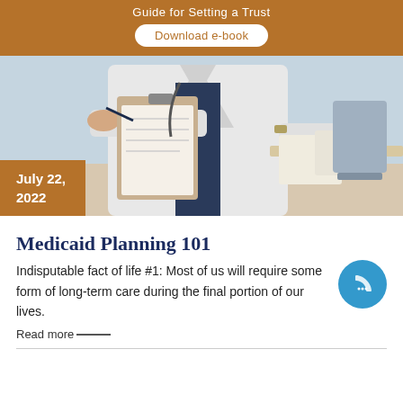Guide for Setting a Trust
Download e-book
[Figure (photo): A doctor in a white coat writing on a clipboard at a medical office desk]
July 22, 2022
Medicaid Planning 101
Indisputable fact of life #1: Most of us will require some form of long-term care during the final portion of our lives.
Read more——